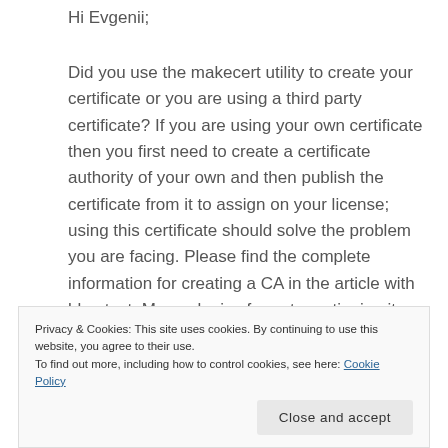Hi Evgenii;
Did you use the makecert utility to create your certificate or you are using a third party certificate? If you are using your own certificate then you first need to create a certificate authority of your own and then publish the certificate from it to assign on your license; using this certificate should solve the problem you are facing. Please find the complete information for creating a CA in the article with blue text. My apologies for not mentioning it earlier. Feel free to ask me if you face any other issue.
Privacy & Cookies: This site uses cookies. By continuing to use this website, you agree to their use.
To find out more, including how to control cookies, see here: Cookie Policy
Close and accept